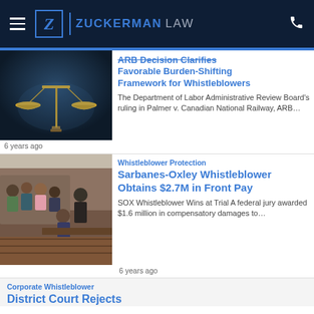Zuckerman Law
ARB Decision Clarifies Favorable Burden-Shifting Framework for Whistleblowers
The Department of Labor Administrative Review Board's ruling in Palmer v. Canadian National Railway, ARB…
6 years ago
Whistleblower Protection
Sarbanes-Oxley Whistleblower Obtains $2.7M in Front Pay
SOX Whistleblower Wins at Trial A federal jury awarded $1.6 million in compensatory damages to…
6 years ago
Corporate Whistleblower
District Court Rejects